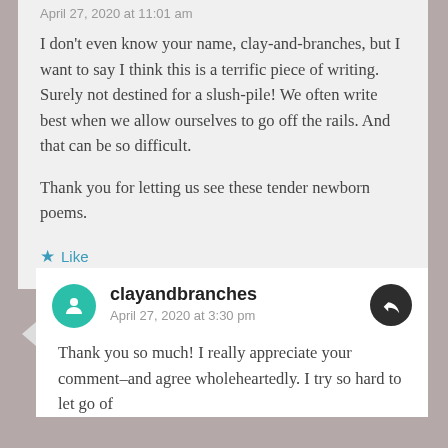April 27, 2020 at 11:01 am
I don't even know your name, clay-and-branches, but I want to say I think this is a terrific piece of writing. Surely not destined for a slush-pile! We often write best when we allow ourselves to go off the rails. And that can be so difficult.

Thank you for letting us see these tender newborn poems.
Like
clayandbranches
April 27, 2020 at 3:30 pm
Thank you so much! I really appreciate your comment–and agree wholeheartedly. I try so hard to let go of